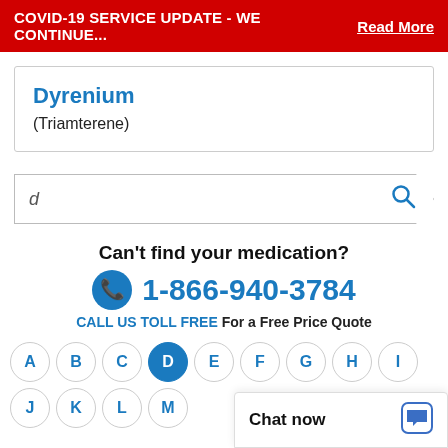COVID-19 SERVICE UPDATE - WE CONTINUE...  Read More
Dyrenium
(Triamterene)
d
Can't find your medication?
1-866-940-3784
CALL US TOLL FREE For a Free Price Quote
A B C D E F G H I
J K L M
Chat now